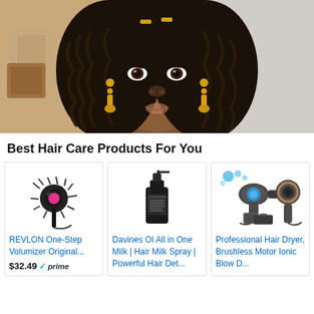[Figure (photo): Young woman with long curly dark hair and gold earrings, looking at camera, video thumbnail style image]
Best Hair Care Products For You
[Figure (photo): REVLON One-Step Volumizer hair brush product image — black and pink round brush dryer]
REVLON One-Step Volumizer Original...
$32.49 prime
[Figure (photo): Davines OI All in One Milk product — black bottle with spray top]
Davines OI All in One Milk | Hair Milk Spray | Powerful Hair Det...
[Figure (photo): Professional Hair Dryer set — dark grey brushless motor ionic blow dryer with accessories]
Professional Hair Dryer, Brushless Motor Ionic Blow D...